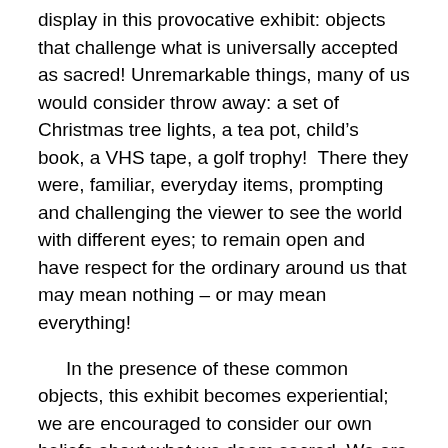display in this provocative exhibit: objects that challenge what is universally accepted as sacred! Unremarkable things, many of us would consider throw away: a set of Christmas tree lights, a tea pot, child's book, a VHS tape, a golf trophy!  There they were, familiar, everyday items, prompting and challenging the viewer to see the world with different eyes; to remain open and have respect for the ordinary around us that may mean nothing – or may mean everything!
In the presence of these common objects, this exhibit becomes experiential; we are encouraged to consider our own beliefs about what we deem sacred. We are invited to consider how nostalgia and personal association can change our perceptions. Perhaps sacred meaning comes from within and is indeed, like beauty, in the eye – and the heart – of the beholder.
Everything for me is sacred, beginning with the earth, but